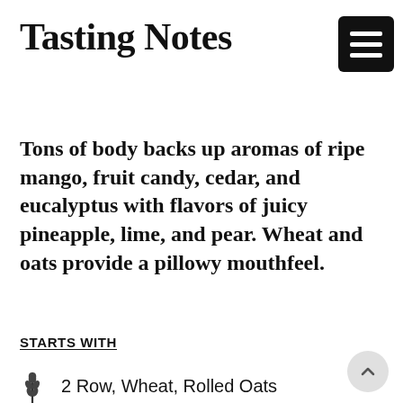Tasting Notes
Tons of body backs up aromas of ripe mango, fruit candy, cedar, and eucalyptus with flavors of juicy pineapple, lime, and pear. Wheat and oats provide a pillowy mouthfeel.
STARTS WITH
2 Row, Wheat, Rolled Oats
Azacca, Idaho, Cryo Ekuanot